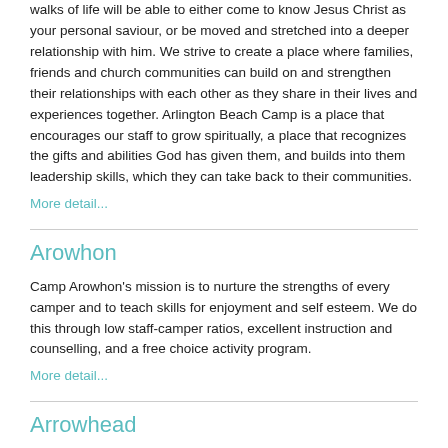walks of life will be able to either come to know Jesus Christ as your personal saviour, or be moved and stretched into a deeper relationship with him. We strive to create a place where families, friends and church communities can build on and strengthen their relationships with each other as they share in their lives and experiences together. Arlington Beach Camp is a place that encourages our staff to grow spiritually, a place that recognizes the gifts and abilities God has given them, and builds into them leadership skills, which they can take back to their communities.
More detail...
Arowhon
Camp Arowhon's mission is to nurture the strengths of every camper and to teach skills for enjoyment and self esteem. We do this through low staff-camper ratios, excellent instruction and counselling, and a free choice activity program.
More detail...
Arrowhead
Located on scenic Lake Simcoe, we offer residential programming in a day camp setting. Experience our fabulous waterfront, land